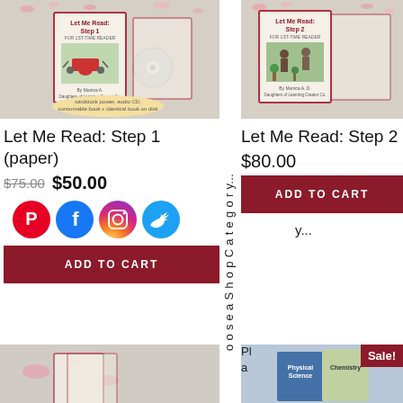[Figure (photo): Product image for Let Me Read Step 1 paper version showing book cover with red wheelbarrow, cardstock poster, audio CD, consumable book + identical book on disk]
Let Me Read: Step 1 (paper)
$75.00  $50.00
[Figure (illustration): Social media icons: Pinterest, Facebook, Instagram, Twitter]
ADD TO CART
[Figure (photo): Product image for Let Me Read Step 2 showing book cover with children at garden scene]
Let Me Read: Step 2
$80.00
ADD TO CART
o o s e a S h o p C a t e g o r y...
[Figure (photo): Bottom left product image showing flowers and paper]
Pl a
[Figure (photo): Bottom right product image showing Physical Science and Chemistry books with Sale! badge]
Sale!